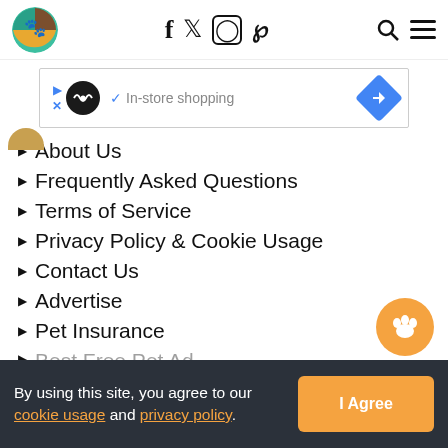[Figure (logo): Circular pet-themed logo with cartoon animals (cat, dog, bird) on green/teal/orange sections]
[Figure (infographic): Social media icons: Facebook (f), Twitter bird, Instagram camera, Pinterest (p) in black]
[Figure (infographic): Search icon (magnifying glass) and hamburger menu icon]
[Figure (infographic): Advertisement banner: infinity loop icon, checkmark, 'In-store shopping' text, blue diamond arrow]
About Us
Frequently Asked Questions
Terms of Service
Privacy Policy & Cookie Usage
Contact Us
Advertise
Pet Insurance
By using this site, you agree to our cookie usage and privacy policy.
I Agree